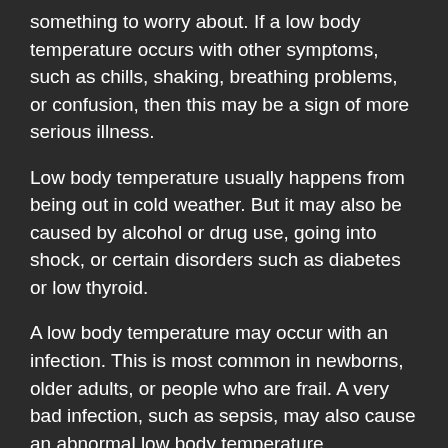something to worry about. If a low body temperature occurs with other symptoms, such as chills, shaking, breathing problems, or confusion, then this may be a sign of more serious illness.
Low body temperature usually happens from being out in cold weather. But it may also be caused by alcohol or drug use, going into shock, or certain disorders such as diabetes or low thyroid.
A low body temperature may occur with an infection. This is most common in newborns, older adults, or people who are frail. A very bad infection, such as sepsis, may also cause an abnormal low body temperature.
High body temperature (heatstroke)